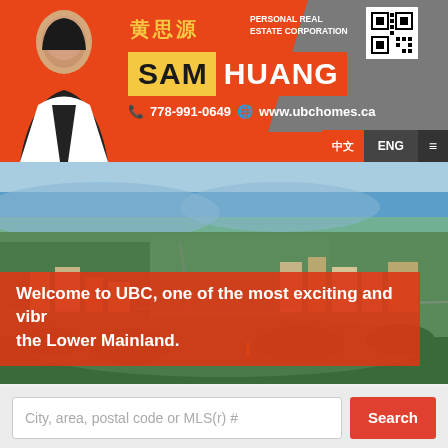[Figure (photo): Real estate agent Sam Huang header banner with photo, Chinese name 黄思源, SAM HUANG branding, phone 778-991-0649, website www.ubchomes.ca, QR code, orange and gray background]
778-991-0649   www.ubchomes.ca
中文  ENG  ≡
[Figure (photo): Aerial photograph of UBC (University of British Columbia) campus showing forested peninsula, waterfront, buildings, and surrounding city]
Welcome to UBC, one of the most exciting and vibrant communities in the Lower Mainland.
City, area, postal code or MLS(r) #